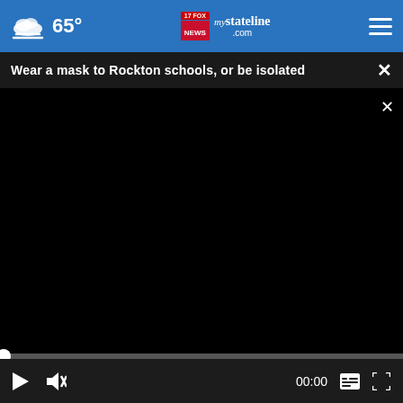65° mystateline.com
Wear a mask to Rockton schools, or be isolated
[Figure (screenshot): Embedded video player showing a dark/black video frame with playback controls. Progress bar at bottom with play button, mute button, time display showing 00:00, subtitles icon, and fullscreen icon.]
[Figure (screenshot): Partially visible thumbnail image below the video player showing a person in a dark outfit, possibly in a bathroom or indoor setting. An advertisement overlay reads 'Shop smarter, not harder with BESTREVIEWS – Go Now' with a blue button.]